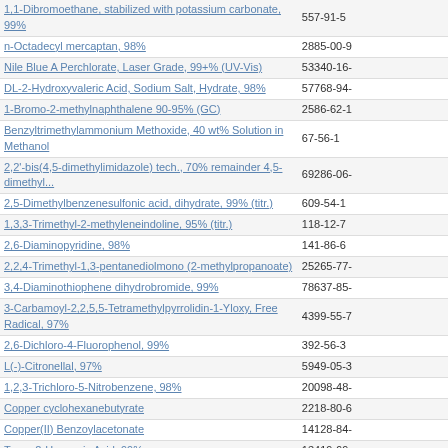| Chemical Name | CAS Number |
| --- | --- |
| 1,1-Dibromoethane, stabilized with potassium carbonate, 99% | 557-91-5 |
| n-Octadecyl mercaptan, 98% | 2885-00-9 |
| Nile Blue A Perchlorate, Laser Grade, 99+% (UV-Vis) | 53340-16- |
| DL-2-Hydroxyvaleric Acid, Sodium Salt, Hydrate, 98% | 57768-94- |
| 1-Bromo-2-methylnaphthalene 90-95% (GC) | 2586-62-1 |
| Benzyltrimethylammonium Methoxide, 40 wt% Solution in Methanol | 67-56-1 |
| 2,2'-bis(4,5-dimethylimidazole) tech., 70% remainder 4,5-dimethyl... | 69286-06- |
| 2,5-Dimethylbenzenesulfonic acid, dihydrate, 99% (titr.) | 609-54-1 |
| 1,3,3-Trimethyl-2-methyleneindoline, 95% (titr.) | 118-12-7 |
| 2,6-Diaminopyridine, 98% | 141-86-6 |
| 2,2,4-Trimethyl-1,3-pentanediolmono (2-methylpropanoate) | 25265-77- |
| 3,4-Diaminothiophene dihydrobromide, 99% | 78637-85- |
| 3-Carbamoyl-2,2,5,5-Tetramethylpyrrolidin-1-Yloxy, Free Radical, 97% | 4399-55-7 |
| 2,6-Dichloro-4-Fluorophenol, 99% | 392-56-3 |
| L(-)-Citronellal, 97% | 5949-05-3 |
| 1,2,3-Trichloro-5-Nitrobenzene, 98% | 20098-48- |
| Copper cyclohexanebutyrate | 2218-80-6 |
| Copper(II) Benzoylacetonate | 14128-84- |
| Trans-2-Hexenoic Acid, 99% | 13419-69- |
| 4-Hydroxymethyl-4-Methyl-1-Phenyl-3-Pyrazolidone, 98% | 13047-13- |
| Adenosine-5'-Diphosphate, Disodium Salt Hydrate, 98% | 16178-48- |
| (+)-Cis-2-Oxabicyclo(3.3.0)Oct-6-En-3-One, 97% | 54483-22- |
| p-Benzoquinone dioxime, 94% (dry state) moistened with ca.30% water | 105-11-3 |
| 5-Chloro-2-Nitrobenzoic Acid, 99% | 2516-95-2 |
| (R)-(-)-2-Phenylglycinol, 98% | 56613-80- |